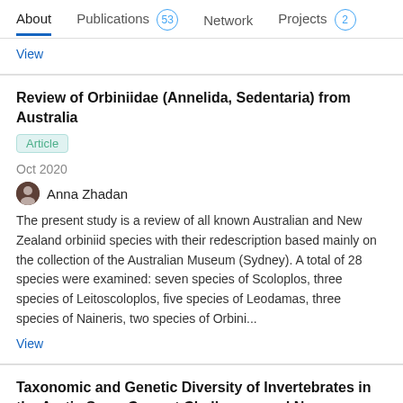About  Publications 53  Network  Projects 2
View
Review of Orbiniidae (Annelida, Sedentaria) from Australia
Article
Oct 2020
Anna Zhadan
The present study is a review of all known Australian and New Zealand orbiniid species with their redescription based mainly on the collection of the Australian Museum (Sydney). A total of 28 species were examined: seven species of Scoloplos, three species of Leitoscoloplos, five species of Leodamas, three species of Naineris, two species of Orbini...
View
Taxonomic and Genetic Diversity of Invertebrates in the Arctic Seas. Current Challenges and New Approaches
Article